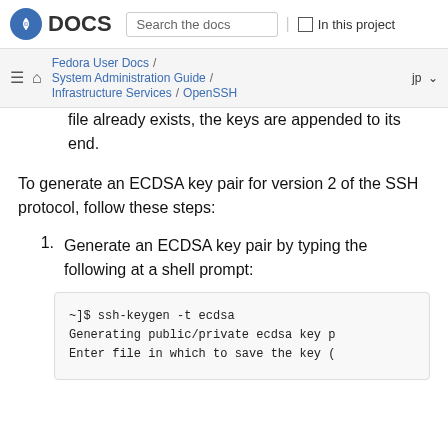Fedora DOCS | Search the docs | In this project
Fedora User Docs / System Administration Guide / Infrastructure Services / OpenSSH | jp
file already exists, the keys are appended to its end.
To generate an ECDSA key pair for version 2 of the SSH protocol, follow these steps:
1. Generate an ECDSA key pair by typing the following at a shell prompt:
~]$ ssh-keygen -t ecdsa
Generating public/private ecdsa key p
Enter file in which to save the key (